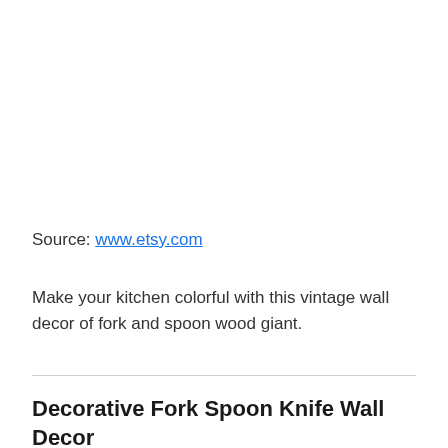Source: www.etsy.com
Make your kitchen colorful with this vintage wall decor of fork and spoon wood giant.
Decorative Fork Spoon Knife Wall Decor